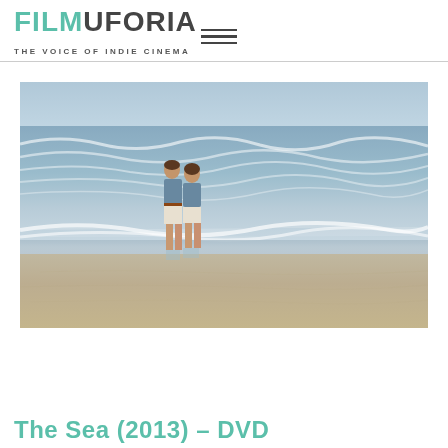FILMUFORIA__ THE VOICE OF INDIE CINEMA
[Figure (photo): Two young figures standing at the shoreline of a beach, viewed from behind, with ocean waves in the background. Both wearing light blue shirts and white/cream shorts. Sandy beach in foreground.]
The Sea (2013) – DVD